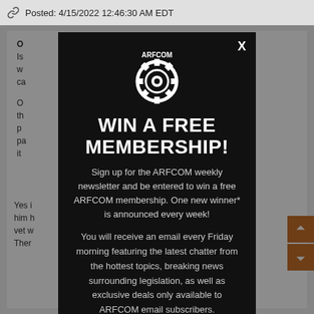Posted: 4/15/2022 12:46:30 AM EDT
O... Is... w... ca...
O... th... p... pa... it...
[Figure (screenshot): ARFCOM gear/cog logo in white on dark background]
WIN A FREE MEMBERSHIP!
Sign up for the ARFCOM weekly newsletter and be entered to win a free ARFCOM membership. One new winner* is announced every week!
You will receive an email every Friday morning featuring the latest chatter from the hottest topics, breaking news surrounding legislation, as well as exclusive deals only available to ARFCOM email subscribers.
Yes i... him h... vet w... Ther...